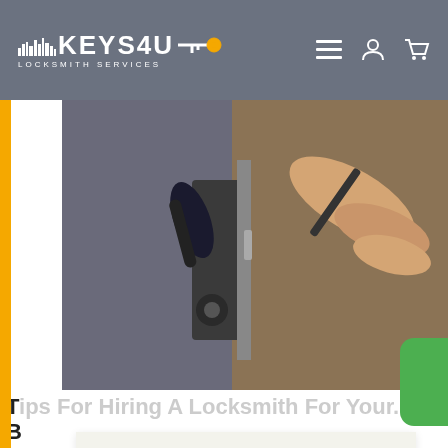KEYS4U LOCKSMITH SERVICES
[Figure (photo): Close-up photo of a person using a tool to work on a door lock/handle mechanism on a wooden door]
Tips For Hiring A Locksmith For Your B...
W... d one wh... es. Af... ke. He...
This website uses cookies to ensure you get the best experience on our website. Learn more
Got it!
products offered.